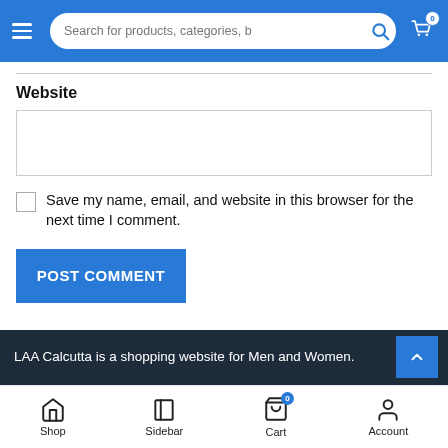Search for products, categories, b | [Search icon] [Cart icon 0]
Website
Save my name, email, and website in this browser for the next time I comment.
POST COMMENT
LAA Calcutta is a shopping website for Men and Women.
Shop | Sidebar | Cart | Account